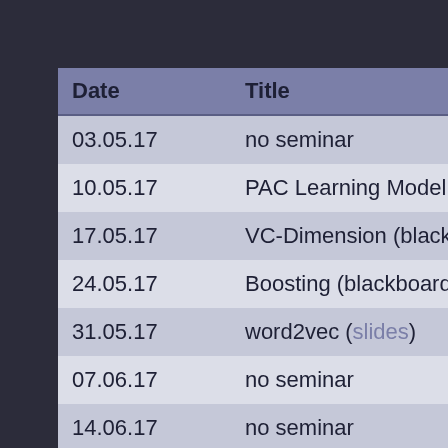| Date | Title |
| --- | --- |
| 03.05.17 | no seminar |
| 10.05.17 | PAC Learning Model (blackb… |
| 17.05.17 | VC-Dimension (blackboard t… |
| 24.05.17 | Boosting (blackboard talk) |
| 31.05.17 | word2vec (slides) |
| 07.06.17 | no seminar |
| 14.06.17 | no seminar |
| 21.06.17 | Unsupervised Learning (slid… |
| 28.06.17 | Haar Cascades (slides) |
| 05.07.17 | Reinforcement Learning (sli… |
| 12.07.17 | Recurrent Neural Networks… |